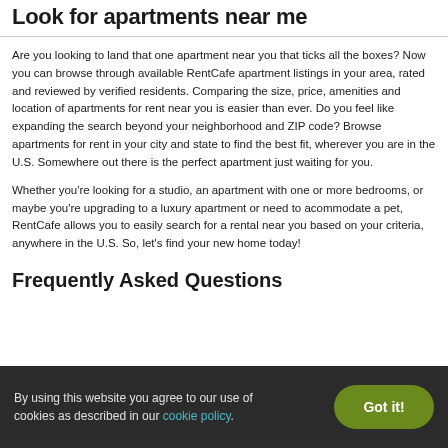Look for apartments near me
Are you looking to land that one apartment near you that ticks all the boxes? Now you can browse through available RentCafe apartment listings in your area, rated and reviewed by verified residents. Comparing the size, price, amenities and location of apartments for rent near you is easier than ever. Do you feel like expanding the search beyond your neighborhood and ZIP code? Browse apartments for rent in your city and state to find the best fit, wherever you are in the U.S. Somewhere out there is the perfect apartment just waiting for you.
Whether you're looking for a studio, an apartment with one or more bedrooms, or maybe you're upgrading to a luxury apartment or need to acommodate a pet, RentCafe allows you to easily search for a rental near you based on your criteria, anywhere in the U.S. So, let's find your new home today!
Frequently Asked Questions
By using this website you agree to our use of cookies as described in our cookie policy.